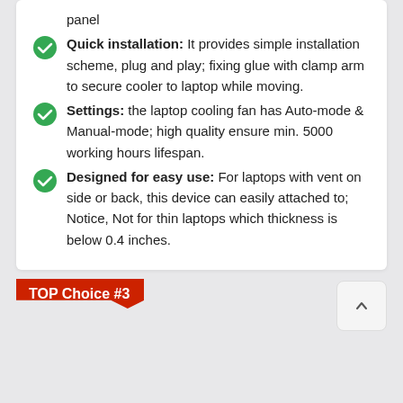panel
Quick installation: It provides simple installation scheme, plug and play; fixing glue with clamp arm to secure cooler to laptop while moving.
Settings: the laptop cooling fan has Auto-mode & Manual-mode; high quality ensure min. 5000 working hours lifespan.
Designed for easy use: For laptops with vent on side or back, this device can easily attached to; Notice, Not for thin laptops which thickness is below 0.4 inches.
TOP Choice #3